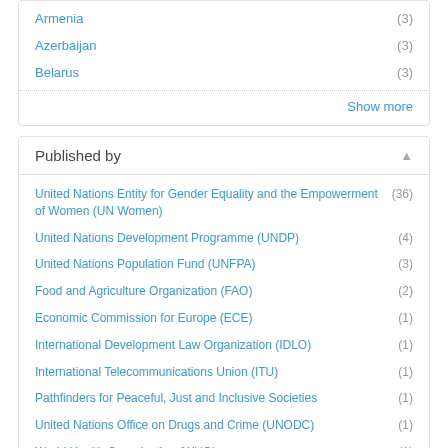Armenia (3)
Azerbaijan (3)
Belarus (3)
Show more
Published by
United Nations Entity for Gender Equality and the Empowerment of Women (UN Women) (36)
United Nations Development Programme (UNDP) (4)
United Nations Population Fund (UNFPA) (3)
Food and Agriculture Organization (FAO) (2)
Economic Commission for Europe (ECE) (1)
International Development Law Organization (IDLO) (1)
International Telecommunications Union (ITU) (1)
Pathfinders for Peaceful, Just and Inclusive Societies (1)
United Nations Office on Drugs and Crime (UNODC) (1)
World Health Organization (WHO) (1)